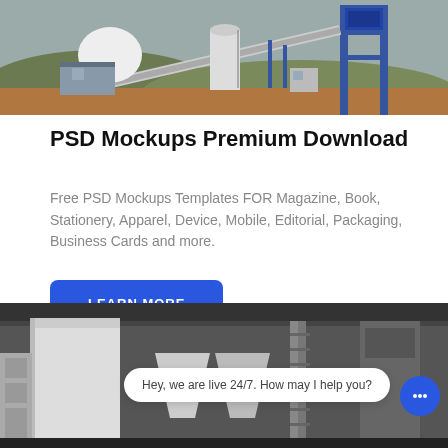[Figure (photo): Industrial concrete batching plant with blue steel framework, conveyor belts, silos, and storage building on a dirt site with hills in the background.]
PSD Mockups Premium Download
Free PSD Mockups Templates FOR Magazine, Book, Stationery, Apparel, Device, Mobile, Editorial, Packaging, Business Cards and more.
LEARN MORE
[Figure (photo): Interior industrial facility with large white cylindrical silos, hoppers, metal staircases and structural framework.]
Hey, we are live 24/7. How may I help you?